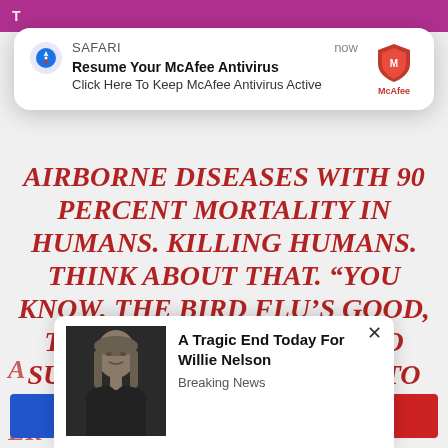[Figure (screenshot): Screenshot of a mobile webpage with overlaid browser notifications. Background shows a magenta/purple top bar and bold red italic article text about airborne diseases and bird flu mortality. A Safari browser notification popup overlays the top portion. A second ad popup for Willie Nelson appears at the bottom.]
AIRBORNE DISEASES WITH 90 PERCENT MORTALITY IN HUMANS. KILLING HUMANS. THINK ABOUT THAT. “YOU KNOW, THE BIRD FLU’S GOOD, TOO. FOR EVERYONE WHO SURVIVES, HE WILL HAVE TO BURY NINE”.
SAFARI
now
Resume Your McAfee Antivirus
Click Here To Keep McAfee Antivirus Active
A Tragic End Today For Willie Nelson
Breaking News